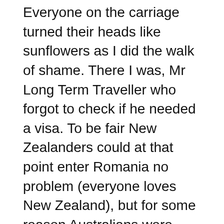Everyone on the carriage turned their heads like sunflowers as I did the walk of shame. There I was, Mr Long Term Traveller who forgot to check if he needed a visa. To be fair New Zealanders could at that point enter Romania no problem (everyone loves New Zealand), but for some reason Australians were required to get a visa (a few months later Romania joined the EU and a visa was no longer required).
I was taken off the train and stood on Romanian soil for the first time. From there I was taken to the station and to be interviewed in a run down office by two customs officials. They were friendly enough, but it still didn't stop my imagination running away in all directions. I've always had a